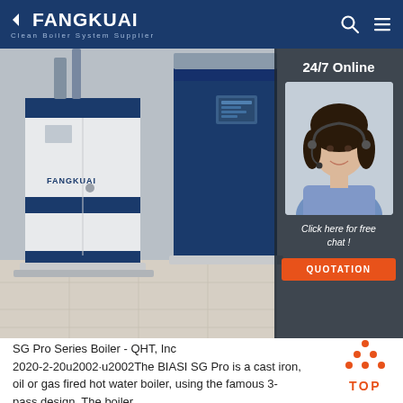FANGKUAI - Clean Boiler System Supplier
[Figure (photo): Fangkuai industrial boiler units installed in a facility room, with a customer service agent overlay panel on the right showing '24/7 Online', 'Click here for free chat!', and a 'QUOTATION' button]
SG Pro Series Boiler - QHT, Inc
2020-2-20u2002·u2002The BIASI SG Pro is a cast iron, oil or gas fired hot water boiler, using the famous 3-pass design. The boiler